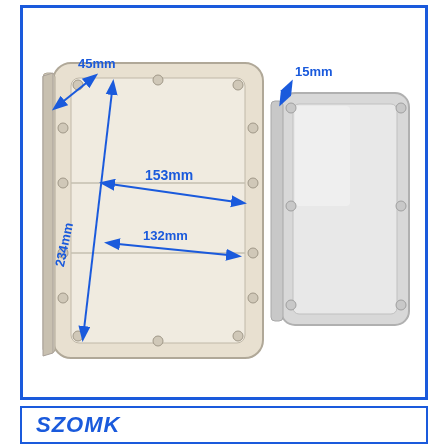[Figure (engineering-diagram): Technical product photo of a plastic waterproof enclosure box (SZOMK brand) shown in two pieces: the main body (left) with blue dimension arrows indicating 45mm depth, 153mm width, 132mm inner width, and 234mm height; and the transparent lid (right) with 15mm depth dimension. Rounded corners with screw holes visible.]
SZOMK